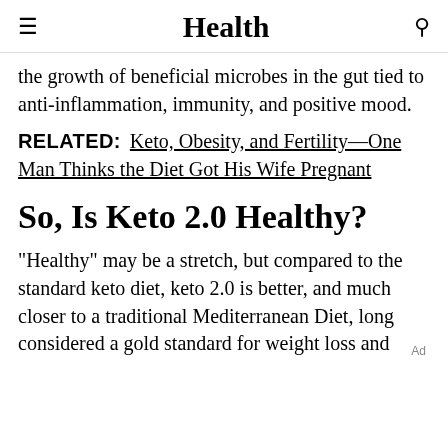Health
the growth of beneficial microbes in the gut tied to anti-inflammation, immunity, and positive mood.
RELATED: Keto, Obesity, and Fertility—One Man Thinks the Diet Got His Wife Pregnant
So, Is Keto 2.0 Healthy?
"Healthy" may be a stretch, but compared to the standard keto diet, keto 2.0 is better, and much closer to a traditional Mediterranean Diet, long considered a gold standard for weight loss and